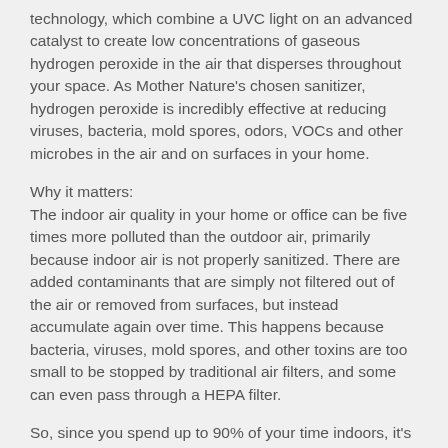technology, which combine a UVC light on an advanced catalyst to create low concentrations of gaseous hydrogen peroxide in the air that disperses throughout your space. As Mother Nature's chosen sanitizer, hydrogen peroxide is incredibly effective at reducing viruses, bacteria, mold spores, odors, VOCs and other microbes in the air and on surfaces in your home.
Why it matters: The indoor air quality in your home or office can be five times more polluted than the outdoor air, primarily because indoor air is not properly sanitized. There are added contaminants that are simply not filtered out of the air or removed from surfaces, but instead accumulate again over time. This happens because bacteria, viruses, mold spores, and other toxins are too small to be stopped by traditional air filters, and some can even pass through a HEPA filter.
So, since you spend up to 90% of your time indoors, it's important to consider the impact these pollutants can have on your long-term health. When you install a REME-HALO®, you will notice the difference in the quality and freshness of the air